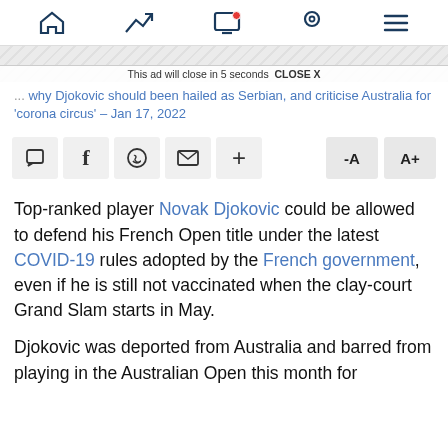Navigation bar with home, trending, live, location, and menu icons
[Figure (screenshot): Ad banner area with diagonal hatch pattern and 'This ad will close in 5 seconds CLOSE X' text]
... why Djokovic should been hailed as Serbian, and criticise Australia for 'corona circus' – Jan 17, 2022
[Figure (screenshot): Share toolbar with comment, Facebook, WhatsApp, email, plus icons and -A A+ font size buttons]
Top-ranked player Novak Djokovic could be allowed to defend his French Open title under the latest COVID-19 rules adopted by the French government, even if he is still not vaccinated when the clay-court Grand Slam starts in May.
Djokovic was deported from Australia and barred from playing in the Australian Open this month for